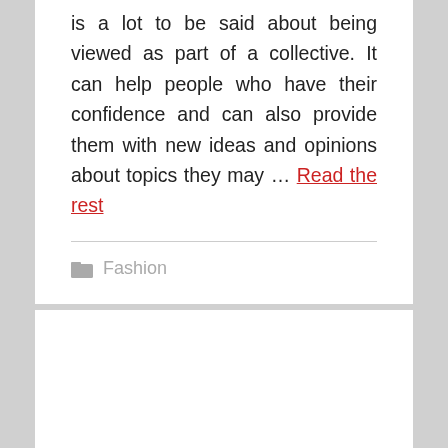is a lot to be said about being viewed as part of a collective. It can help people who have their confidence and can also provide them with new ideas and opinions about topics they may … Read the rest
Fashion
Recent Posts